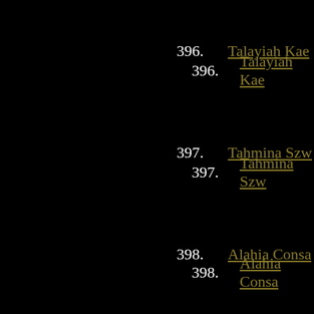396. Talayiah Kae...
397. Tahmina Szw...
398. Alahia Consa...
399. Christiane Ra...
400. Jailah Lyles
401. Ezaiah Abello...
402. Omer Fierst